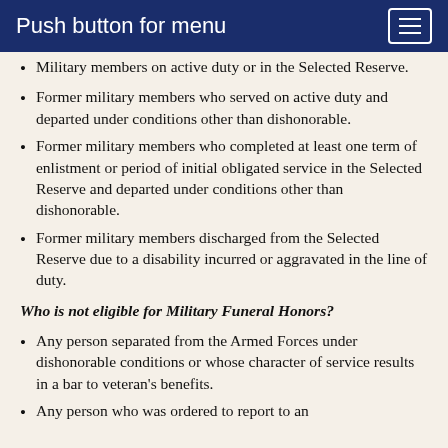Push button for menu
Military members on active duty or in the Selected Reserve.
Former military members who served on active duty and departed under conditions other than dishonorable.
Former military members who completed at least one term of enlistment or period of initial obligated service in the Selected Reserve and departed under conditions other than dishonorable.
Former military members discharged from the Selected Reserve due to a disability incurred or aggravated in the line of duty.
Who is not eligible for Military Funeral Honors?
Any person separated from the Armed Forces under dishonorable conditions or whose character of service results in a bar to veteran's benefits.
Any person who was ordered to report to an…